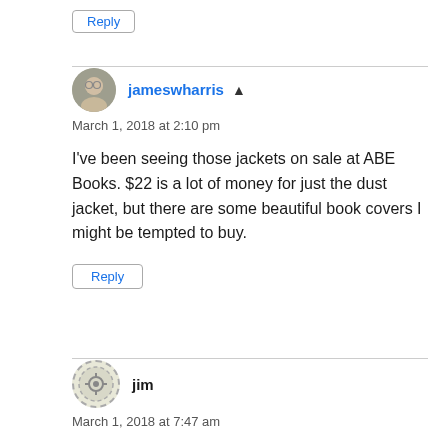Reply
jameswharris ▲
March 1, 2018 at 2:10 pm
I've been seeing those jackets on sale at ABE Books. $22 is a lot of money for just the dust jacket, but there are some beautiful book covers I might be tempted to buy.
Reply
jim
March 1, 2018 at 7:47 am